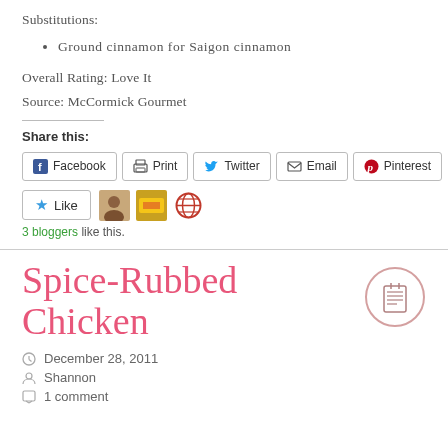Substitutions:
Ground cinnamon for Saigon cinnamon
Overall Rating: Love It
Source: McCormick Gourmet
Share this:
[Figure (other): Social sharing buttons: Facebook, Print, Twitter, Email, Pinterest]
[Figure (other): Like button with star icon]
[Figure (photo): Three blogger avatar thumbnails]
3 bloggers like this.
Spice-Rubbed Chicken
[Figure (illustration): Recipe/checklist icon in a circle]
December 28, 2011
Shannon
1 comment